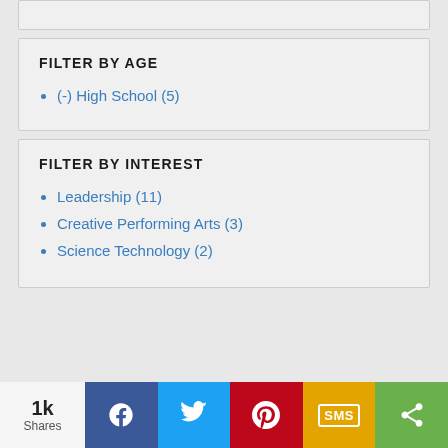FILTER BY AGE
(-) High School (5)
FILTER BY INTEREST
Leadership (11)
Creative Performing Arts (3)
Science Technology (2)
1k Shares | Facebook | Twitter | Pinterest | SMS | Share